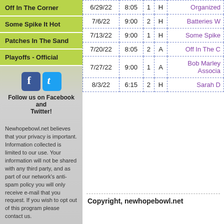Off In The Corner
Some Spike It Hot
Patches In The Sand
Playoffs - Official
[Figure (logo): Facebook and Twitter social media icons]
Follow us on Facebook and Twitter!
Newhopebowl.net believes that your privacy is important. Information collected is limited to our use. Your information will not be shared with any third party, and as part of our network's anti-spam policy you will only receive e-mail that you request. If you wish to opt out of this program please contact us.
| Date | Time | Court | H/A | Team |
| --- | --- | --- | --- | --- |
| 6/29/22 | 8:05 | 1 | H | Organized... |
| 7/6/22 | 9:00 | 2 | H | Batteries W... |
| 7/13/22 | 9:00 | 1 | H | Some Spike... |
| 7/20/22 | 8:05 | 2 | A | Off In The C... |
| 7/27/22 | 9:00 | 1 | A | Bob Marley Associa... |
| 8/3/22 | 6:15 | 2 | H | Sarah D... |
Copyright, newhopebowl.net